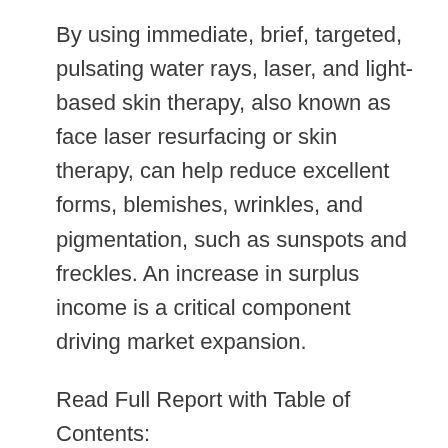By using immediate, brief, targeted, pulsating water rays, laser, and light-based skin therapy, also known as face laser resurfacing or skin therapy, can help reduce excellent forms, blemishes, wrinkles, and pigmentation, such as sunspots and freckles. An increase in surplus income is a critical component driving market expansion.
Read Full Report with Table of Contents: https://bit.ly/3NZ74JQ
By modality, the market is segmented into: